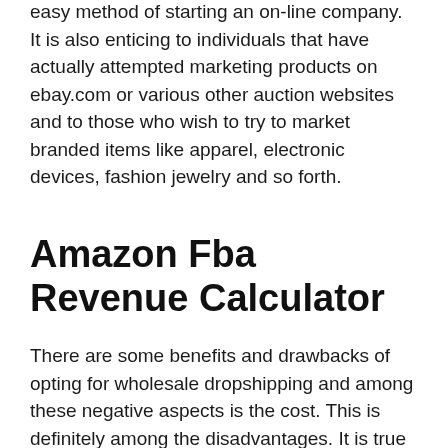easy method of starting an on-line company. It is also enticing to individuals that have actually attempted marketing products on ebay.com or various other auction websites and to those who wish to try to market branded items like apparel, electronic devices, fashion jewelry and so forth.
Amazon Fba Revenue Calculator
There are some benefits and drawbacks of opting for wholesale dropshipping and among these negative aspects is the cost. This is definitely among the disadvantages. It is true that when you choose an Amazon seller account, you will certainly pay reduced